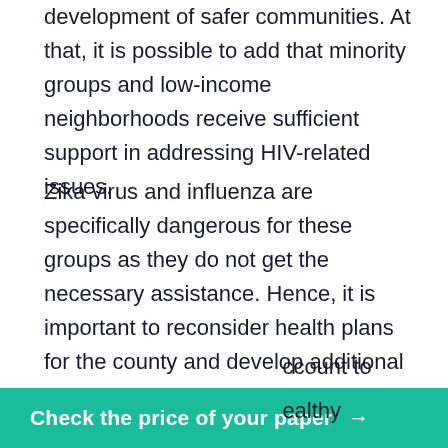development of safer communities. At that, it is possible to add that minority groups and low-income neighborhoods receive sufficient support in addressing HIV-related issues.
Zika virus and influenza are specifically dangerous for these groups as they do not get the necessary assistance. Hence, it is important to reconsider health plans for the county and develop additional programs and initiatives to address the needs of various minority groups. Females, especially pregnant women, are specifically prone to the infections mentioned above. This population can have quite a distorted understanding of vaccination or other strategies that can help prevent disorders. Healthcare professionals …ccount to …ealthy
Check the price of your paper →